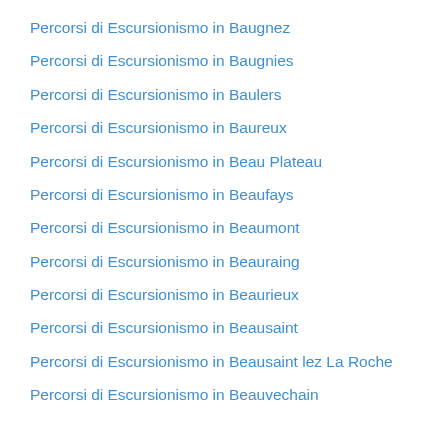Percorsi di Escursionismo in Baugnez
Percorsi di Escursionismo in Baugnies
Percorsi di Escursionismo in Baulers
Percorsi di Escursionismo in Baureux
Percorsi di Escursionismo in Beau Plateau
Percorsi di Escursionismo in Beaufays
Percorsi di Escursionismo in Beaumont
Percorsi di Escursionismo in Beauraing
Percorsi di Escursionismo in Beaurieux
Percorsi di Escursionismo in Beausaint
Percorsi di Escursionismo in Beausaint lez La Roche
Percorsi di Escursionismo in Beauvechain